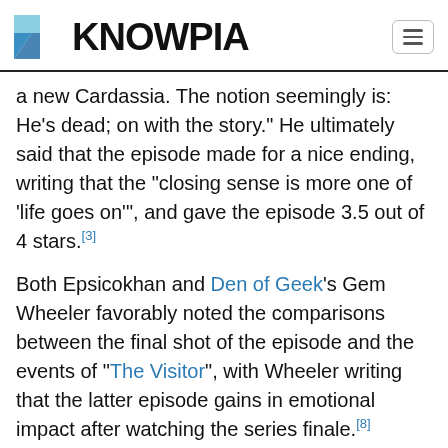KNOWPIA
a new Cardassia. The notion seemingly is: He's dead; on with the story." He ultimately said that the episode made for a nice ending, writing that the "closing sense is more one of 'life goes on'", and gave the episode 3.5 out of 4 stars.[3]
Both Epsicokhan and Den of Geek's Gem Wheeler favorably noted the comparisons between the final shot of the episode and the events of "The Visitor", with Wheeler writing that the latter episode gains in emotional impact after watching the series finale.[8]
Many reviewers criticized the Pah-wraith storyline and its resolution. DeCandido had been heavily criticized the direction of Dukat's character following "Sacrifice of Angels", writing "There's an argument to be made